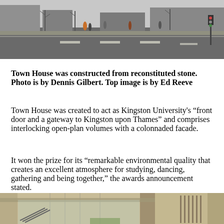[Figure (photo): Street-level photograph showing a wide road with pedestrians walking along the pavement, with bare trees and urban buildings visible in the background.]
Town House was constructed from reconstituted stone. Photo is by Dennis Gilbert. Top image is by Ed Reeve
Town House was created to act as Kingston University's “front door and a gateway to Kingston upon Thames” and comprises interlocking open-plan volumes with a colonnaded facade.
It won the prize for its “remarkable environmental quality that creates an excellent atmosphere for studying, dancing, gathering and being together,” the awards announcement stated.
[Figure (photo): Close-up architectural photograph of the Town House building facade showing colonnaded concrete columns, glass panels, and structural details with warm stone-coloured surfaces.]